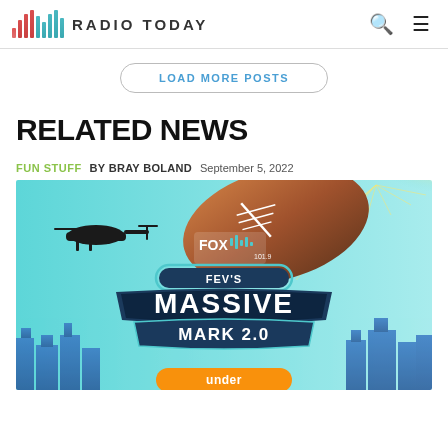RADIO TODAY
LOAD MORE POSTS
RELATED NEWS
FUN STUFF  BY BRAY BOLAND  September 5, 2022
[Figure (illustration): Promotional image for FOX FM's 'Fev's Massive Mark 2.0' event, showing a football, helicopter, city skyline, and 'under' sponsor text on a teal background.]